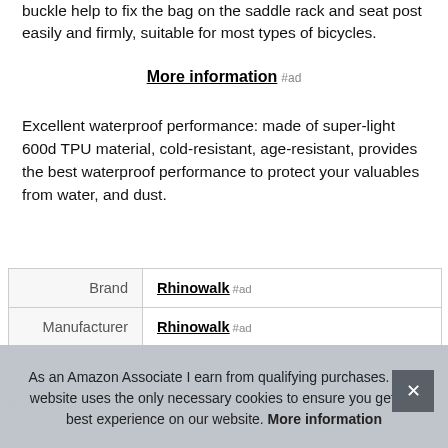buckle help to fix the bag on the saddle rack and seat post easily and firmly, suitable for most types of bicycles.
More information #ad
Excellent waterproof performance: made of super-light 600d TPU material, cold-resistant, age-resistant, provides the best waterproof performance to protect your valuables from water, and dust.
|  |  |
| --- | --- |
| Brand | Rhinowalk #ad |
| Manufacturer | Rhinowalk #ad |
| P |  |
As an Amazon Associate I earn from qualifying purchases. This website uses the only necessary cookies to ensure you get the best experience on our website. More information